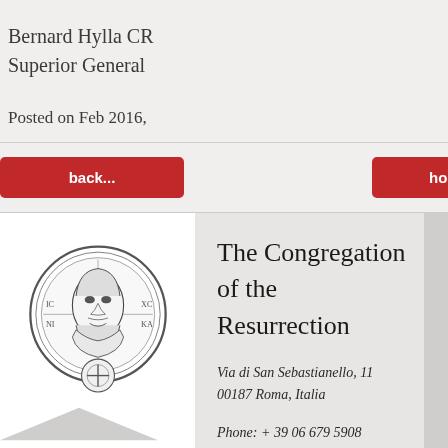Bernard Hylla CR
Superior General
Posted on Feb 2016,
back...
home site
[Figure (illustration): Black and white illustration of Christ / religious icon with a circular medallion design, used as the Congregation of the Resurrection logo]
The Congregation of the Resurrection
Via di San Sebastianello, 11
00187 Roma, Italia
Phone: + 39 06 679 5908
Fax: + 39 06 678 4397
e-mail: cr@resurrectionist.eu